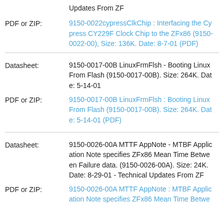Updates From ZF
PDF or ZIP:
9150-0022cypressClkChip : Interfacing the Cypress CY229F Clock Chip to the ZFx86 (9150-0022-00), Size: 136K. Date: 8-7-01 (PDF)
Datasheet:
9150-0017-00B LinuxFrmFlsh - Booting Linux From Flash (9150-0017-00B). Size: 264K. Date: 5-14-01
PDF or ZIP:
9150-0017-00B LinuxFrmFlsh : Booting Linux From Flash (9150-0017-00B). Size: 264K. Date: 5-14-01 (PDF)
Datasheet:
9150-0026-00A MTTF AppNote - MTBF Application Note specifies ZFx86 Mean Time Between Failure data. (9150-0026-00A). Size: 24K. Date: 8-29-01 - Technical Updates From ZF
PDF or ZIP:
9150-0026-00A MTTF AppNote : MTBF Application Note specifies ZFx86 Mean Time Betwe...